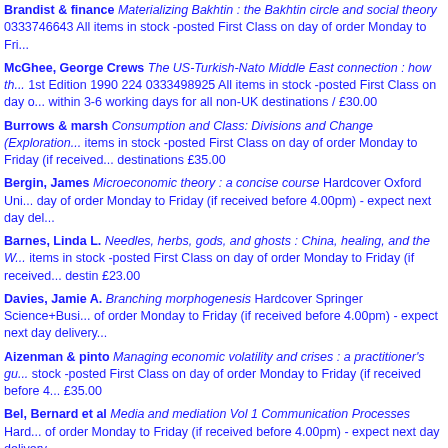Brandist & finance Materializing Bakhtin : the Bakhtin circle and social theory 0333746643 All items in stock -posted First Class on day of order Monday to Fri...
McGhee, George Crews The US-Turkish-Nato Middle East connection : how the... 1st Edition 1990 224 0333498925 All items in stock -posted First Class on day o... within 3-6 working days for all non-UK destinations / £30.00
Burrows & marsh Consumption and Class: Divisions and Change (Exploration... items in stock -posted First Class on day of order Monday to Friday (if received... destinations £35.00
Bergin, James Microeconomic theory : a concise course Hardcover Oxford Uni... day of order Monday to Friday (if received before 4.00pm) - expect next day del...
Barnes, Linda L. Needles, herbs, gods, and ghosts : China, healing, and the W... items in stock -posted First Class on day of order Monday to Friday (if received... destin £23.00
Davies, Jamie A. Branching morphogenesis Hardcover Springer Science+Busi... of order Monday to Friday (if received before 4.00pm) - expect next day delivery...
Aizenman & pinto Managing economic volatility and crises : a practitioner's gu... stock -posted First Class on day of order Monday to Friday (if received before 4... £35.00
Bel, Bernard et al Media and mediation Vol 1 Communication Processes Hard... of order Monday to Friday (if received before 4.00pm) - expect next day delivery...
proudhon, pj What is property An inquiry into the principle of right and of gover... posted First Class on day of order Monday to Friday (if received before 4.00pm)... £35.00
Iuling, virginia Somali Sultanate: the Geledi City-State over 150 years Hardco... day of order Monday to Friday (if received before 4.00pm) - expect next day del...
Yousaf, Nahem Alex La Guma : politics and resistance Hardcover Heinemann ... Monday to Friday (if received before 4.00pm) - expect next day delivery in UK, o...
WimmelbüCker, Ludger Kilimanjaro : a regional history Vol 1 Production and... items in stock -posted First Class on day of order Monday to Friday (if received...